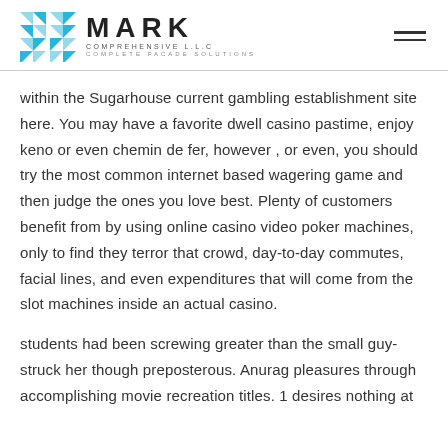MARK COMPREHENSIVE LLC — COMPLETE FACADE SOLUTIONS
within the Sugarhouse current gambling establishment site here. You may have a favorite dwell casino pastime, enjoy keno or even chemin de fer, however , or even, you should try the most common internet based wagering game and then judge the ones you love best. Plenty of customers benefit from by using online casino video poker machines, only to find they terror that crowd, day-to-day commutes, facial lines, and even expenditures that will come from the slot machines inside an actual casino.
students had been screwing greater than the small guy-struck her though preposterous. Anurag pleasures through accomplishing movie recreation titles. 1 desires nothing at